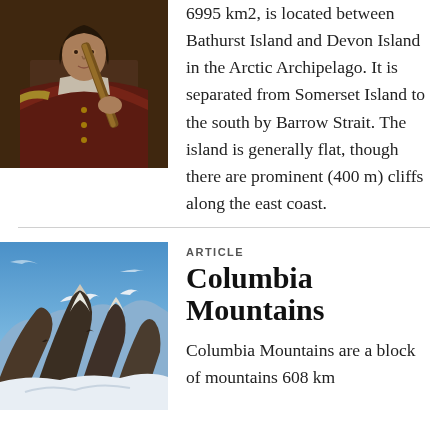[Figure (photo): Portrait painting of a historical figure holding a navigational instrument]
6995 km2, is located between Bathurst Island and Devon Island in the Arctic Archipelago. It is separated from Somerset Island to the south by Barrow Strait. The island is generally flat, though there are prominent (400 m) cliffs along the east coast.
[Figure (photo): Photograph of snow-covered rocky mountain peaks (Columbia Mountains) under a blue sky]
ARTICLE
Columbia Mountains
Columbia Mountains are a block of mountains 608 km